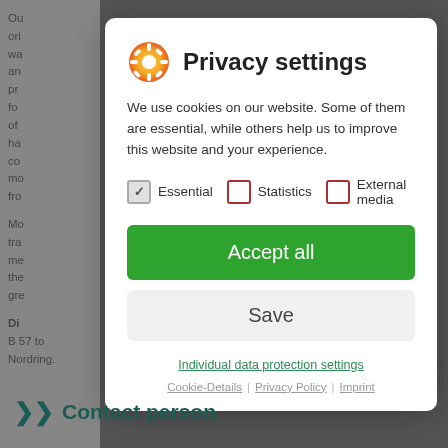[Figure (screenshot): Privacy settings modal dialog overlaid on a website background. The modal contains a cookie consent UI with a logo/icon, title 'Privacy settings', explanatory text, checkboxes for Essential, Statistics, External media, an Accept all button, a Save button, and links for Individual data protection settings, Cookie-Details, Privacy Policy, and Imprint. Background shows partial website text and a 'Contact person' section header.]
Privacy settings
We use cookies on our website. Some of them are essential, while others help us to improve this website and your experience.
Essential   Statistics   External media
Accept all
Save
Individual data protection settings
Cookie-Details  |  Privacy Policy  |  Imprint
Contact person